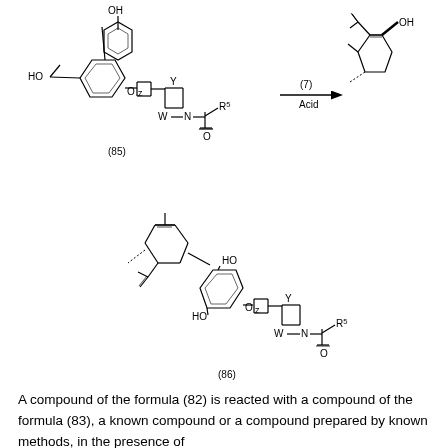[Figure (chemistry-diagram): Chemical reaction scheme showing compound (85) reacting with compound (7) in the presence of Acid to give compound (86). Compound (85) is a resorcinol-derived azetidine with O-CH linkage and N-CO-R5 group. Compound (7) is a terpene alcohol (alpha-terpineol derivative). Product (86) is the alkylated phenol-azetidine adduct with a menthane-type substituent bearing two OH groups.]
A compound of the formula (82) is reacted with a compound of the formula (83), a known compound or a compound prepared by known methods, in the presence of